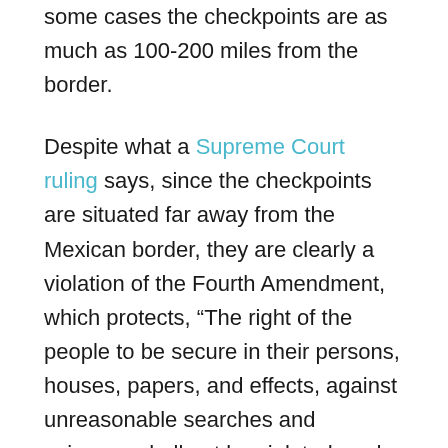some cases the checkpoints are as much as 100-200 miles from the border.
Despite what a Supreme Court ruling says, since the checkpoints are situated far away from the Mexican border, they are clearly a violation of the Fourth Amendment, which protects, “The right of the people to be secure in their persons, houses, papers, and effects, against unreasonable searches and seizures, shall not be violated, and no Warrants shall issue, but upon probable cause, supported by Oath or affirmation, and particularly describing the place to be searched, and the persons or things to be seized.” Of course, the Supreme Court also once ruled that black people in